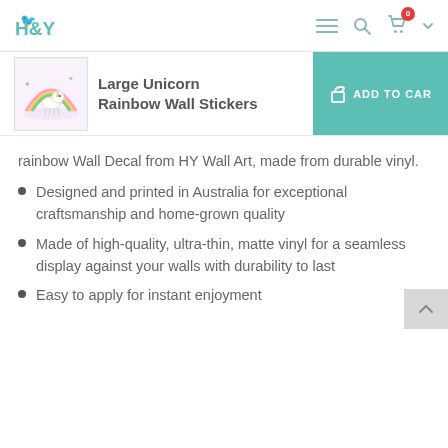H&Y
Large Unicorn Rainbow Wall Stickers
rainbow Wall Decal from HY Wall Art, made from durable vinyl.
Designed and printed in Australia for exceptional craftsmanship and home-grown quality
Made of high-quality, ultra-thin, matte vinyl for a seamless display against your walls with durability to last
Easy to apply for instant enjoyment